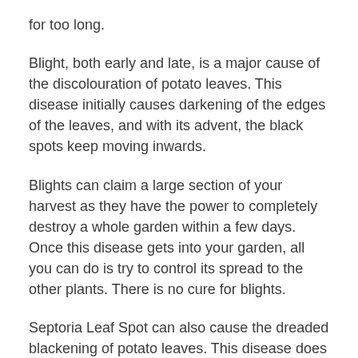for too long.
Blight, both early and late, is a major cause of the discolouration of potato leaves. This disease initially causes darkening of the edges of the leaves, and with its advent, the black spots keep moving inwards.
Blights can claim a large section of your harvest as they have the power to completely destroy a whole garden within a few days. Once this disease gets into your garden, all you can do is try to control its spread to the other plants. There is no cure for blights.
Septoria Leaf Spot can also cause the dreaded blackening of potato leaves. This disease does not cause completely visible and prominent dark spots